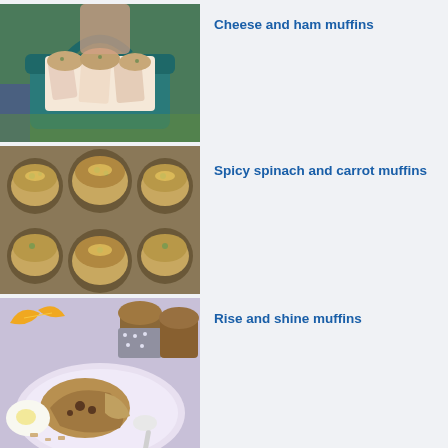[Figure (photo): Person holding a teal basket with cheese and ham muffins wrapped in patterned paper]
Cheese and ham muffins
[Figure (photo): Overhead view of spicy spinach and carrot muffins in a baking tin with parchment liners]
Spicy spinach and carrot muffins
[Figure (photo): Rise and shine muffins on a lavender plate with a broken muffin, poached egg and orange segments]
Rise and shine muffins